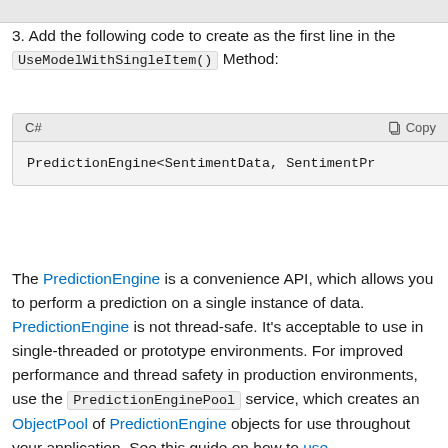3. Add the following code to create as the first line in the UseModelWithSingleItem() Method:
[Figure (screenshot): Code block showing C# language label with Copy button, containing: PredictionEngine<SentimentData, SentimentPr]
The PredictionEngine is a convenience API, which allows you to perform a prediction on a single instance of data. PredictionEngine is not thread-safe. It's acceptable to use in single-threaded or prototype environments. For improved performance and thread safety in production environments, use the PredictionEnginePool service, which creates an ObjectPool of PredictionEngine objects for use throughout your application. See this guide on how to use PredictionEnginePool in an ASP.NET Core Web API